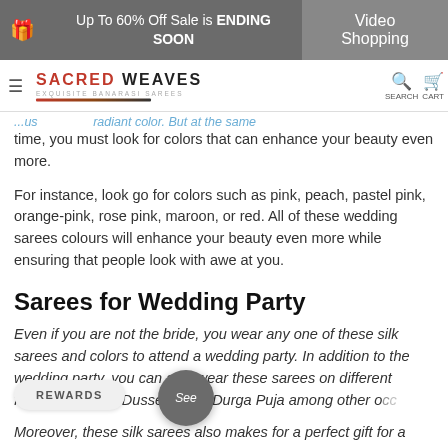Up To 60% Off Sale is ENDING SOON | Video Shopping
SACRED WEAVES EXQUISITE BANARASI SAREES | SEARCH | CART
radiant color. But at the same time, you must look for colors that can enhance your beauty even more.
For instance, look go for colors such as pink, peach, pastel pink, orange-pink, rose pink, maroon, or red. All of these wedding sarees colours will enhance your beauty even more while ensuring that people look with awe at you.
Sarees for Wedding Party
Even if you are not the bride, you wear any one of these silk sarees and colors to attend a wedding party. In addition to the wedding party, you can also wear these sarees on different festi... Dussera, and Durga Puja among other o...
Moreover, these silk sarees also makes for a perfect gift for a